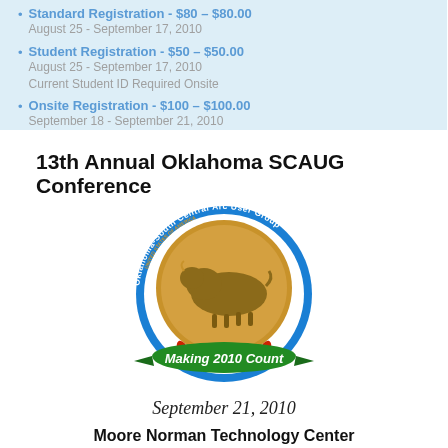Standard Registration - $80 – $80.00
August 25 - September 17, 2010
Student Registration - $50 – $50.00
August 25 - September 17, 2010
Current Student ID Required Onsite
Onsite Registration - $100 – $100.00
September 18 - September 21, 2010
13th Annual Oklahoma SCAUG Conference
[Figure (logo): Oklahoma-South Central Arc User Group circular logo with a buffalo nickel coin image in the center and a green banner reading 'Making 2010 Count']
September 21, 2010
Moore Norman Technology Center